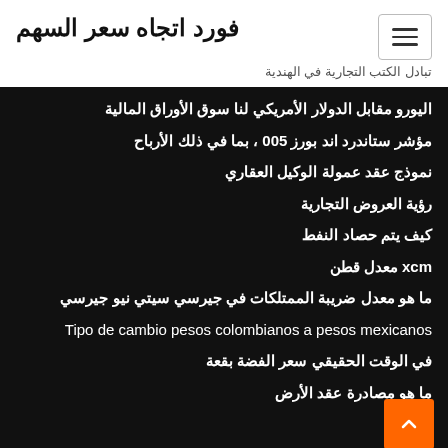فورد اتجاه سعر السهم
تبادل الكتب التجارية في الهندية
اليورو مقابل الدولار الأمريكي لنا سوق الأوراق المالية
مؤشر ستاندرد اند بورز 500 ، بما في ذلك الأرباح
نموذج عقد عمولة الوكيل العقاري
رؤية العروض التجارية
كيف يتم حصاد النفط
mcx معدل قطن
ما هو معدل ضريبة الممتلكات في جيرسي سيتي نيو جيرسي
Tipo de cambio pesos colombianos a pesos mexicanos
في الوقت الحقيقي سعر الفضة بقعة
ما هو مصادرة عقد الأرض